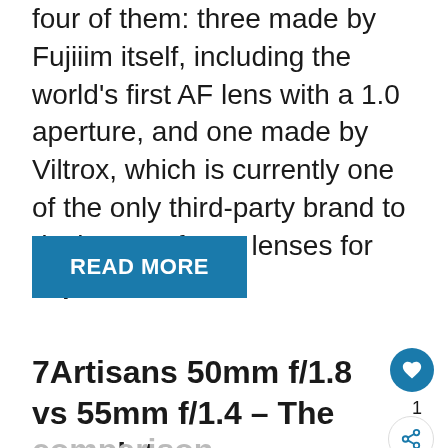four of them: three made by Fujiiim itself, including the world's first AF lens with a 1.0 aperture, and one made by Viltrox, which is currently one of the only third-party brand to design autofocus lenses for Fuji users.
READ MORE
7Artisans 50mm f/1.8 vs 55mm f/1.4 – The complete comparison